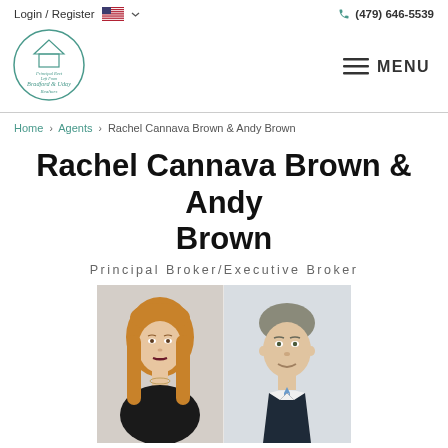Login / Register   (479) 646-5539
[Figure (logo): Bradford & Uday Realtors circular logo with house icon]
MENU
Home > Agents > Rachel Cannava Brown & Andy Brown
Rachel Cannava Brown & Andy Brown
Principal Broker/Executive Broker
[Figure (photo): Professional headshots of Rachel Cannava Brown (woman with long blonde hair) and Andy Brown (man in suit with striped tie)]